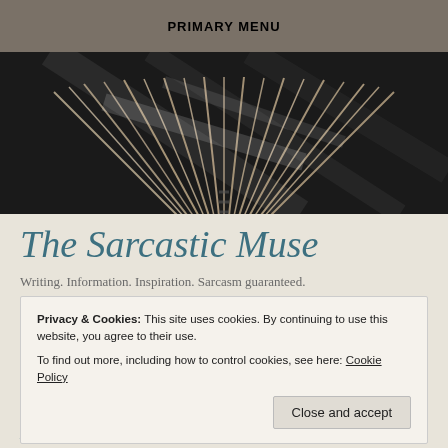PRIMARY MENU
[Figure (photo): Fan-spread open book pages against a dark background with light streaks]
The Sarcastic Muse
Writing. Information. Inspiration. Sarcasm guaranteed.
Privacy & Cookies: This site uses cookies. By continuing to use this website, you agree to their use.
To find out more, including how to control cookies, see here: Cookie Policy
Close and accept
E – Erase the Public Other to Emerge in